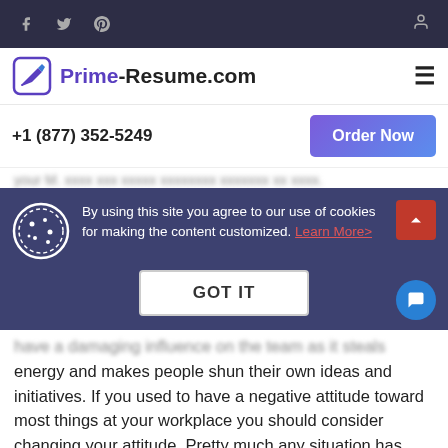f  Twitter  Pinterest  [user icon]
[Figure (logo): Prime-Resume.com logo with pencil/document icon, hamburger menu on right]
+1 (877) 352-5249   [Order Now button]
[blurred text line]
By using this site you agree to our use of cookies for making the content customized. Learn More>  GOT IT
have a damaging influence on the team as it steals energy and makes people shun their own ideas and initiatives. If you used to have a negative attitude toward most things at your workplace you should consider changing your attitude. Pretty much any situation has positive sides and if you ignore them and concentrate on how bad things are sooner or later it will be unbearable to work with you. So whether you